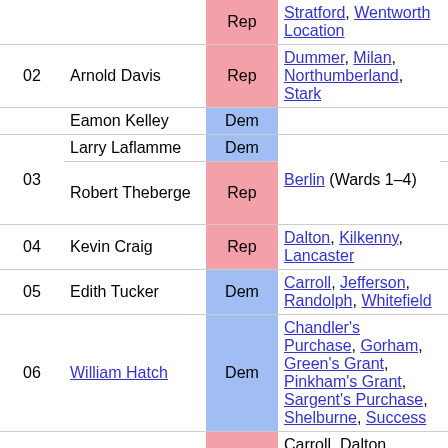| # | Name | Party | Towns | Year |
| --- | --- | --- | --- | --- |
|  |  | Rep | Stratford, Wentworth Location |  |
| 02 | Arnold Davis | Rep | Dummer, Milan, Northumberland, Stark | 2020 |
|  | Eamon Kelley | Dem |  | 2020 |
| 03 | Larry Laflamme | Dem | Berlin (Wards 1–4) | 2016 |
|  | Robert Theberge | Rep |  | 2020 (2002–2018) |
| 04 | Kevin Craig | Rep | Dalton, Kilkenny, Lancaster | 2018 |
| 05 | Edith Tucker | Dem | Carroll, Jefferson, Randolph, Whitefield | 2016 |
| 06 | William Hatch | Dem | Chandler's Purchase, Gorham, Green's Grant, Pinkham's Grant, Sargent's Purchase, Shelburne, Success | 2006 |
| 07 | Troy Merner | Rep | Carroll, Dalton, Dummer, Jefferson, Kilkenny, Lancaster, Milan, Northumberland, Randolph, Stark, | 2016 |